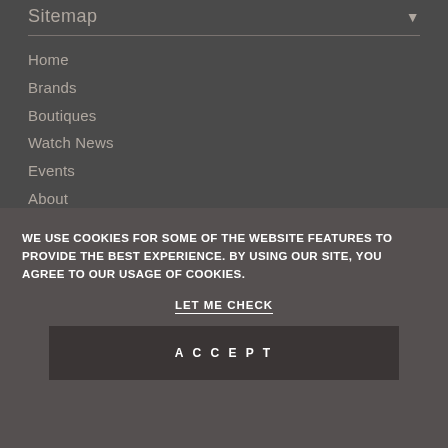Sitemap ▼
Home
Brands
Boutiques
Watch News
Events
About
Contact
Shop Online
WE USE COOKIES FOR SOME OF THE WEBSITE FEATURES TO PROVIDE THE BEST EXPERIENCE. BY USING OUR SITE, YOU AGREE TO OUR USAGE OF COOKIES.
LET ME CHECK
ACCEPT